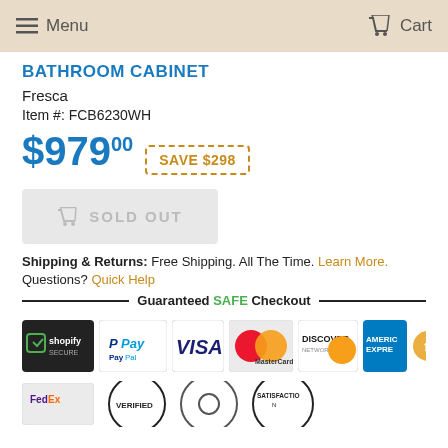Menu   Cart
BATHROOM CABINET
Fresca
Item #: FCB6230WH
$979.00  SAVE $298
SOLD OUT
Shipping & Returns: Free Shipping. All The Time. Learn More.
Questions? Quick Help
Guaranteed SAFE Checkout
[Figure (logo): Payment method logos: Shopify Secure, PayPal, Visa, MasterCard, Discover, American Express]
[Figure (logo): Trust badge icons at bottom]